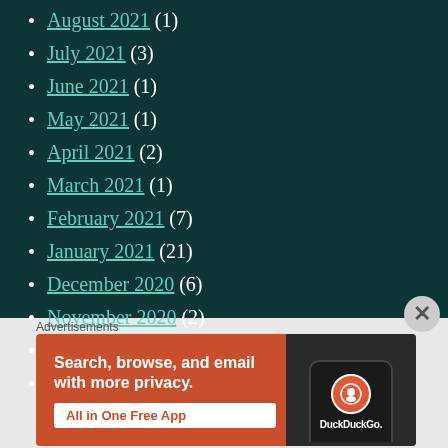August 2021 (1)
July 2021 (3)
June 2021 (1)
May 2021 (1)
April 2021 (2)
March 2021 (1)
February 2021 (7)
January 2021 (21)
December 2020 (6)
November 2020 (2)
October 2020 (5)
September 2020 (1)
Advertisements
[Figure (infographic): DuckDuckGo advertisement banner: orange background with text 'Search, browse, and email with more privacy. All in One Free App' and a phone showing the DuckDuckGo logo.]